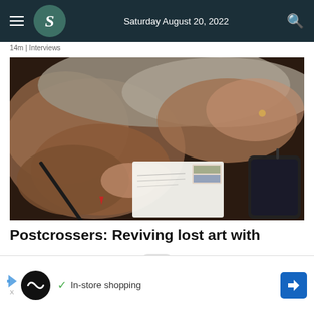Saturday August 20, 2022
14m | Interviews
[Figure (photo): Close-up photo of a person's hands writing on a postcard with a pen, with a smartphone visible to the right on a dark surface]
Postcrossers: Reviving a lost art with
[Figure (infographic): Advertisement banner with Looper app logo, checkmark, 'In-store shopping' text, and blue navigation arrow icon]